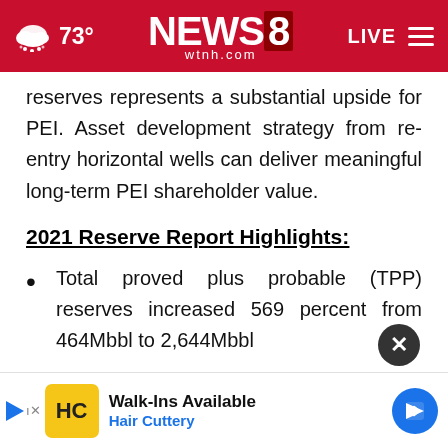NEWS8 wtnh.com | 73° | LIVE
reserves represents a substantial upside for PEI. Asset development strategy from re-entry horizontal wells can deliver meaningful long-term PEI shareholder value.
2021 Reserve Report Highlights:
Total proved plus probable (TPP) reserves increased 569 percent from 464Mbbl to 2,644Mbbl
...approximately...10% ...-$3.4